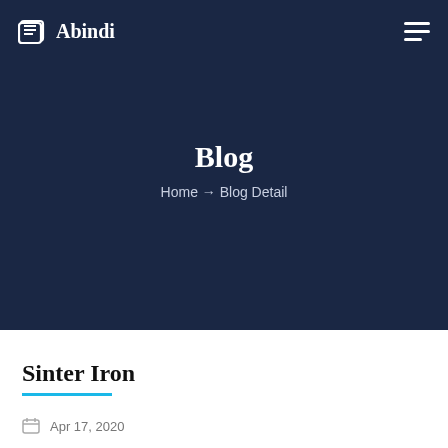Abindi
Blog
Home → Blog Detail
Sinter Iron
Apr 17, 2020